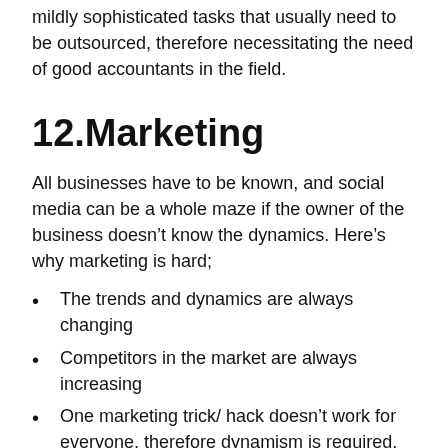Many business owners know very well that these are mildly sophisticated tasks that usually need to be outsourced, therefore necessitating the need of good accountants in the field.
12.Marketing
All businesses have to be known, and social media can be a whole maze if the owner of the business doesn’t know the dynamics. Here’s why marketing is hard;
The trends and dynamics are always changing
Competitors in the market are always increasing
One marketing trick/ hack doesn’t work for everyone, therefore dynamism is required.
This is where the marketers come in to make sure the business directs the content and the business spreads far